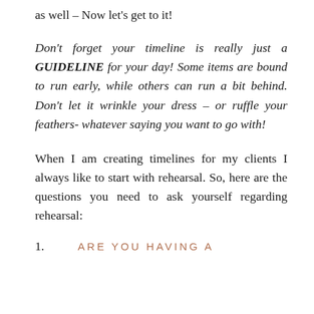as well – Now let's get to it!
Don't forget your timeline is really just a GUIDELINE for your day! Some items are bound to run early, while others can run a bit behind. Don't let it wrinkle your dress – or ruffle your feathers- whatever saying you want to go with!
When I am creating timelines for my clients I always like to start with rehearsal. So, here are the questions you need to ask yourself regarding rehearsal:
1.    ARE YOU HAVING A